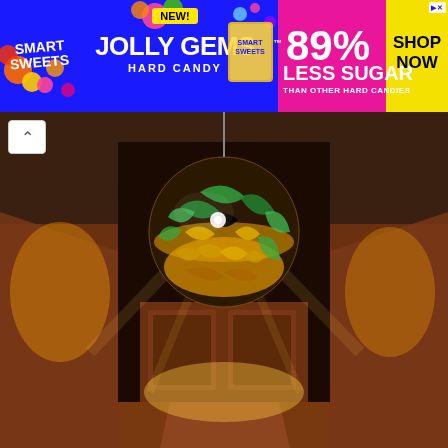[Figure (infographic): Smart Sweets advertisement banner for Jolly Gems Hard Candy. Blue background with colorful candy decorations. Text reads: SMART SWEETS, NEW! JOLLY GEMS HARD CANDY on left/center. Right section in pink: 89% LESS SUGAR THAN OTHER HARD CANDIES. Yellow box: SHOP NOW. Small ad icon in top right corner.]
[Figure (photo): Interior hallway or entryway photo showing warm wooden wainscoting and dark upper walls/ceiling. A large decorative spherical lamp or ornament with colorful green, yellow, and gold spiral faceted pattern hangs from the ceiling. Warm light casts dramatic shadows and light patterns on the wood-paneled walls and hardwood floor. The hallway recedes into the background.]